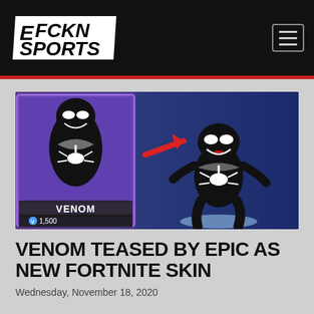EFCKN SPORTS
[Figure (photo): Venom Fortnite skin promotional image showing the Venom character skin card on the left with 'VENOM' label and 1,500 V-Bucks price, and a full-body render of the Venom character on the right with a red arrow pointing from the card to the character, set against a blue Fortnite background.]
VENOM TEASED BY EPIC AS NEW FORTNITE SKIN
Wednesday, November 18, 2020